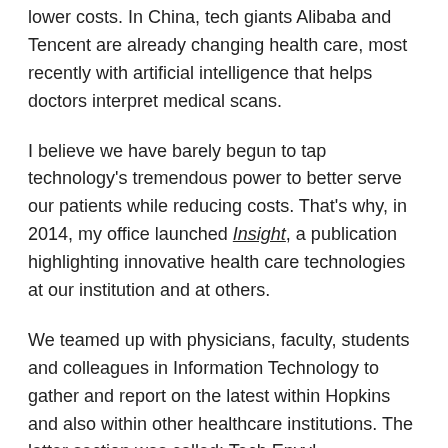lower costs. In China, tech giants Alibaba and Tencent are already changing health care, most recently with artificial intelligence that helps doctors interpret medical scans.
I believe we have barely begun to tap technology's tremendous power to better serve our patients while reducing costs. That's why, in 2014, my office launched Insight, a publication highlighting innovative health care technologies at our institution and at others.
We teamed up with physicians, faculty, students and colleagues in Information Technology to gather and report on the latest within Hopkins and also within other healthcare institutions. The latter section was called: Tech Envy!